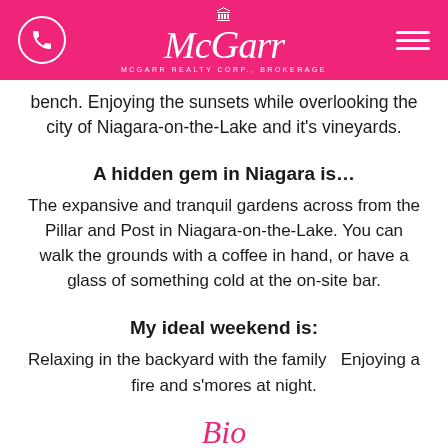McGarr Realty Corp., Brokerage
bench. Enjoying the sunsets while overlooking the city of Niagara-on-the-Lake and it's vineyards.
A hidden gem in Niagara is…
The expansive and tranquil gardens across from the Pillar and Post in Niagara-on-the-Lake. You can walk the grounds with a coffee in hand, or have a glass of something cold at the on-site bar.
My ideal weekend is:
Relaxing in the backyard with the family  Enjoying a fire and s'mores at night.
Bio